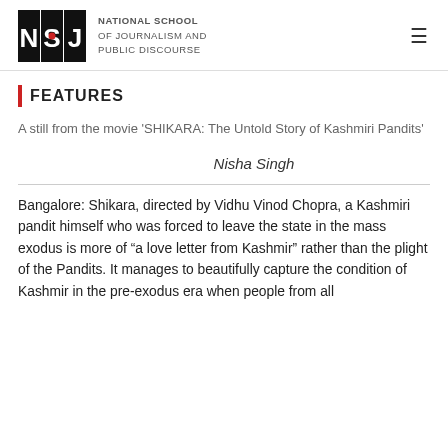NSJ — National School of Journalism and Public Discourse
FEATURES
A still from the movie 'SHIKARA: The Untold Story of Kashmiri Pandits'
Nisha Singh
Bangalore: Shikara, directed by Vidhu Vinod Chopra, a Kashmiri pandit himself who was forced to leave the state in the mass exodus is more of “a love letter from Kashmir” rather than the plight of the Pandits. It manages to beautifully capture the condition of Kashmir in the pre-exodus era when people from all